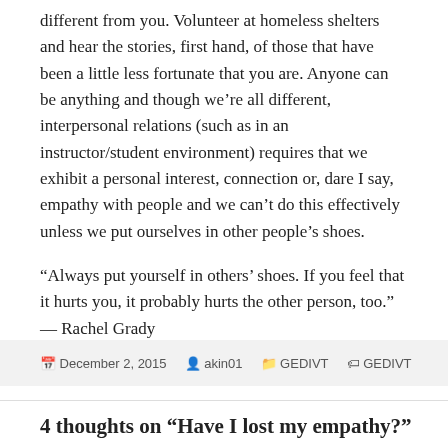different from you. Volunteer at homeless shelters and hear the stories, first hand, of those that have been a little less fortunate that you are. Anyone can be anything and though we're all different, interpersonal relations (such as in an instructor/student environment) requires that we exhibit a personal interest, connection or, dare I say, empathy with people and we can't do this effectively unless we put ourselves in other people's shoes.
“Always put yourself in others’ shoes. If you feel that it hurts you, it probably hurts the other person, too.” — Rachel Grady
December 2, 2015  akin01  GEDIVT  GEDIVT
4 thoughts on “Have I lost my empathy?”